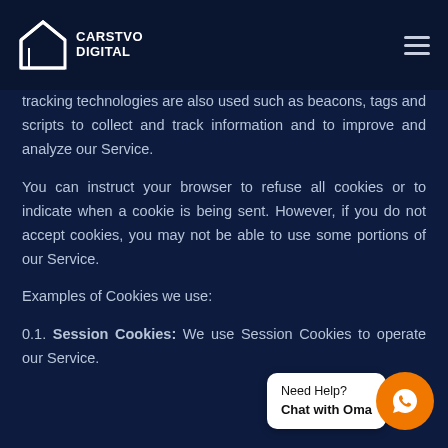CARSTVO DIGITAL
tracking technologies are also used such as beacons, tags and scripts to collect and track information and to improve and analyze our Service.
You can instruct your browser to refuse all cookies or to indicate when a cookie is being sent. However, if you do not accept cookies, you may not be able to use some portions of our Service.
Examples of Cookies we use:
0.1. Session Cookies: We use Session Cookies to operate our Service.
[Figure (other): WhatsApp chat widget with 'Need Help? Chat with Oma' bubble and orange WhatsApp icon circle]